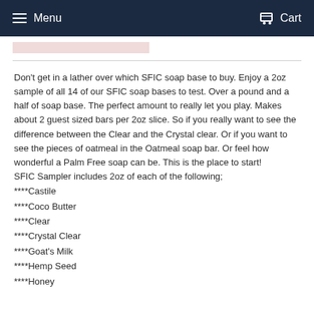Menu   Cart
Don't get in a lather over which SFIC soap base to buy. Enjoy a 2oz sample of all 14 of our SFIC soap bases to test. Over a pound and a half of soap base. The perfect amount to really let you play. Makes about 2 guest sized bars per 2oz slice. So if you really want to see the difference between the Clear and the Crystal clear. Or if you want to see the pieces of oatmeal in the Oatmeal soap bar. Or feel how wonderful a Palm Free soap can be. This is the place to start!
SFIC Sampler includes 2oz of each of the following;
****Castile
****Coco Butter
****Clear
****Crystal Clear
****Goat's Milk
****Hemp Seed
****Honey